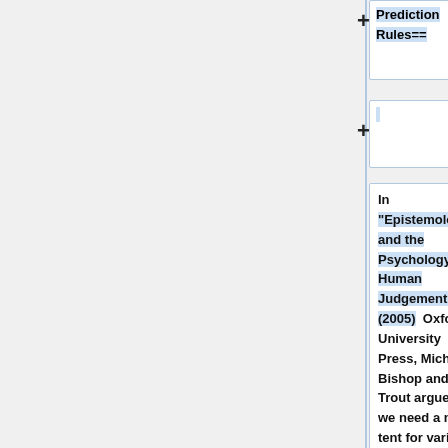+ Prediction Rules==
+
In "Epistemology and the Psychology of Human Judgement" (2005)  Oxford University Press, Michael Bishop and J.D Trout argue that we need a new tent for various mathematical, computational, philosophical and psychological results called